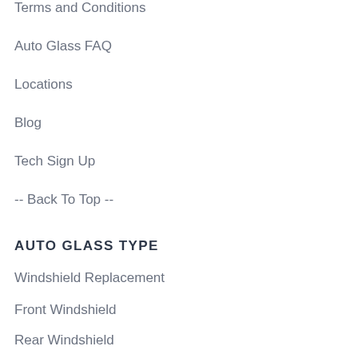Terms and Conditions
Auto Glass FAQ
Locations
Blog
Tech Sign Up
-- Back To Top --
AUTO GLASS TYPE
Windshield Replacement
Front Windshield
Rear Windshield
Front Driver Side